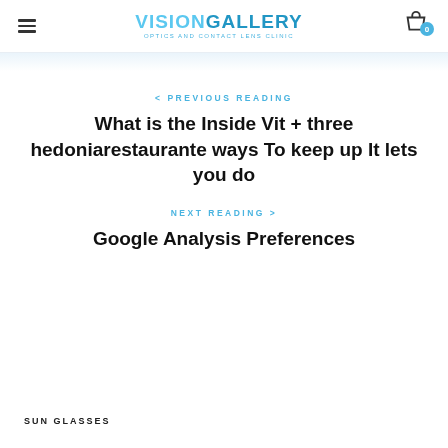VISION GALLERY — OPTICS AND CONTACT LENS CLINIC
< PREVIOUS READING
What is the Inside Vit + three hedoniarestaurante ways To keep up It lets you do
NEXT READING >
Google Analysis Preferences
SUN GLASSES